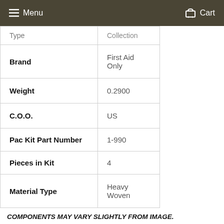Menu  Cart
| Type | COLLECTION |
| Brand | First Aid Only |
| Weight | 0.2900 |
| C.O.O. | US |
| Pac Kit Part Number | 1-990 |
| Pieces in Kit | 4 |
| Material Type | Heavy Woven |
COMPONENTS MAY VARY SLIGHTLY FROM IMAGE.
Share  Tweet  Pin it